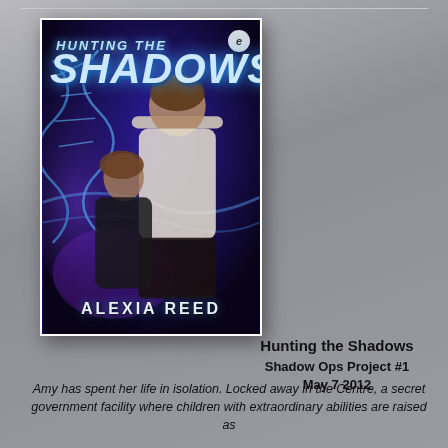[Figure (illustration): Book cover for 'Hunting the Shadows' by Alexia Reed. Purple/blue sci-fi background with DNA helix imagery. A man in a white tank top and a woman in dark clothing are featured prominently. Publisher logo (stylized 'e') in top right corner. Author name ALEXIA REED at bottom.]
Hunting the Shadows
Shadow Ops Project #1
May 7 2012
Amy has spent her life in isolation. Locked away in the Centre, a secret government facility where children with extraordinary abilities are raised as